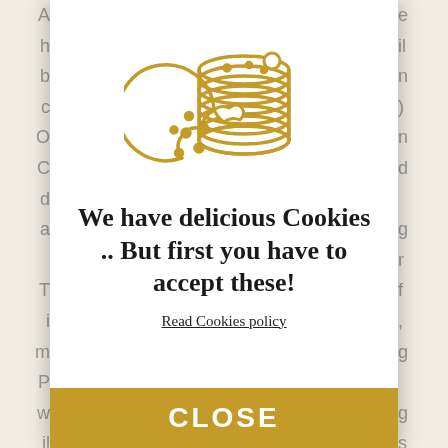[Figure (illustration): Cookie icon: a stack of gold/tan outlined cookies with a single bitten cookie in front, line art style in golden/amber color]
We have delicious Cookies .. But first you have to accept these!
Read Cookies policy
CLOSE